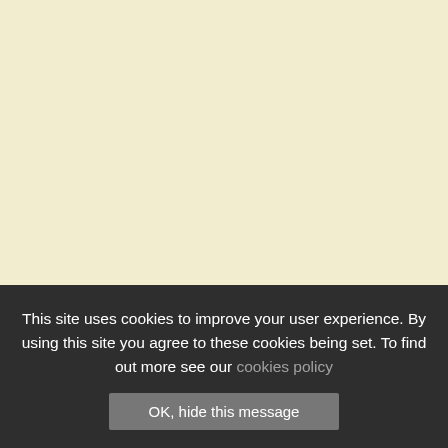Learning Outcomes
Authentic Leadership Group Coaching has been shown to significantly and reliably improve scores on
This site uses cookies to improve your user experience. By using this site you agree to these cookies being set. To find out more see our cookies policy
OK, hide this message